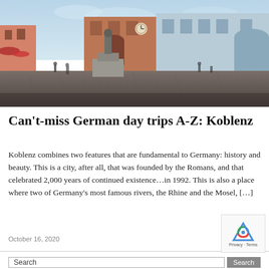[Figure (photo): Town square in Koblenz, Germany showing a stone plaza with a central monument/statue, historic buildings with storefronts and a clock tower, blue sky with a few people walking around.]
Can't-miss German day trips A-Z: Koblenz
Koblenz combines two features that are fundamental to Germany: history and beauty. This is a city, after all, that was founded by the Romans, and that celebrated 2,000 years of continued existence…in 1992. This is also a place where two of Germany's most famous rivers, the Rhine and the Mosel, […]
October 16, 2020